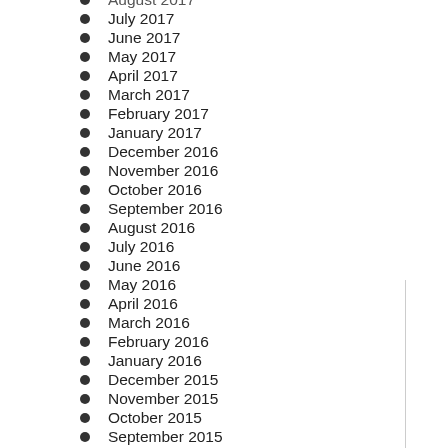August 2017
July 2017
June 2017
May 2017
April 2017
March 2017
February 2017
January 2017
December 2016
November 2016
October 2016
September 2016
August 2016
July 2016
June 2016
May 2016
April 2016
March 2016
February 2016
January 2016
December 2015
November 2015
October 2015
September 2015